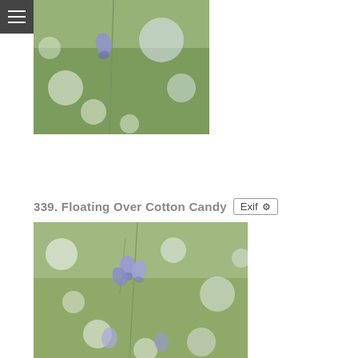[Figure (photo): Close-up photo of bluebells with purple/blue bell-shaped flowers against a soft green bokeh background]
339. Floating Over Cotton Candy
[Figure (photo): Second photo of bluebells with purple/lavender bell-shaped flowers in soft focus green and white bokeh background]